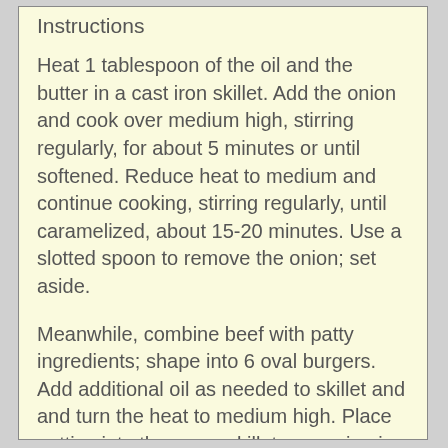Instructions
Heat 1 tablespoon of the oil and the butter in a cast iron skillet. Add the onion and cook over medium high, stirring regularly, for about 5 minutes or until softened. Reduce heat to medium and continue cooking, stirring regularly, until caramelized, about 15-20 minutes. Use a slotted spoon to remove the onion; set aside.
Meanwhile, combine beef with patty ingredients; shape into 6 oval burgers. Add additional oil as needed to skillet and and turn the heat to medium high. Place patties into the same skillet, preparing in batches as needed, and cook until the patties are well browned on the underside, and mostly cooked through. Flip, scatter onions on top of each patty and top with a slice of cheese. Cover skillet, remove from heat and set aside.